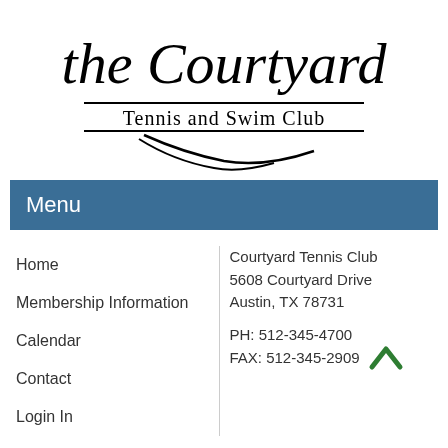[Figure (logo): The Courtyard Tennis and Swim Club cursive signature logo with horizontal rules and printed text 'Tennis and Swim Club']
Menu
Home
Membership Information
Calendar
Contact
Login In
Courtyard Tennis Club
5608 Courtyard Drive
Austin, TX 78731

PH: 512-345-4700
FAX: 512-345-2909